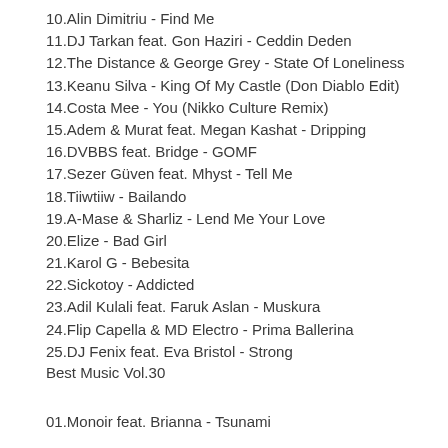10.Alin Dimitriu - Find Me
11.DJ Tarkan feat. Gon Haziri - Ceddin Deden
12.The Distance & George Grey - State Of Loneliness
13.Keanu Silva - King Of My Castle (Don Diablo Edit)
14.Costa Mee - You (Nikko Culture Remix)
15.Adem & Murat feat. Megan Kashat - Dripping
16.DVBBS feat. Bridge - GOMF
17.Sezer Güven feat. Mhyst - Tell Me
18.Tiiwtiiw - Bailando
19.A-Mase & Sharliz - Lend Me Your Love
20.Elize - Bad Girl
21.Karol G - Bebesita
22.Sickotoy - Addicted
23.Adil Kulali feat. Faruk Aslan - Muskura
24.Flip Capella & MD Electro - Prima Ballerina
25.DJ Fenix feat. Eva Bristol - Strong
Best Music Vol.30
01.Monoir feat. Brianna - Tsunami